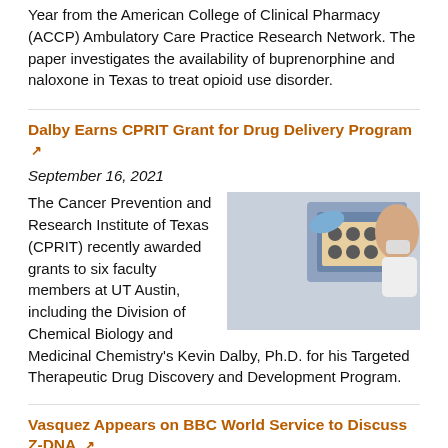Year from the American College of Clinical Pharmacy (ACCP) Ambulatory Care Practice Research Network. The paper investigates the availability of buprenorphine and naloxone in Texas to treat opioid use disorder.
Dalby Earns CPRIT Grant for Drug Delivery Program ↗
September 16, 2021
[Figure (photo): Lab researcher in gloves and mask holding a multi-well plate tray above laboratory equipment]
The Cancer Prevention and Research Institute of Texas (CPRIT) recently awarded grants to six faculty members at UT Austin, including the Division of Chemical Biology and Medicinal Chemistry's Kevin Dalby, Ph.D. for his Targeted Therapeutic Drug Discovery and Development Program.
Vasquez Appears on BBC World Service to Discuss Z-DNA ↗
June 16, 2021
[Figure (photo): Blue-toned image, partially visible, related to Z-DNA topic]